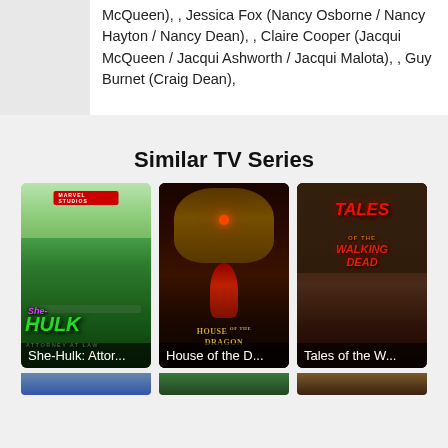McQueen), , Jessica Fox (Nancy Osborne / Nancy Hayton / Nancy Dean), , Claire Cooper (Jacqui McQueen / Jacqui Ashworth / Jacqui Malota), , Guy Burnet (Craig Dean),
Similar TV Series
[Figure (photo): Poster for She-Hulk: Attorney at Law - Marvel Studios show featuring a woman in a suit on a green background with city]
She-Hulk: Attor...
[Figure (photo): Poster for House of the Dragon - dark fantasy show featuring a dragon and a figure in red]
House of the D...
[Figure (photo): Poster for Tales of the Walking Dead - horror show with multiple characters and red title text]
Tales of the W...